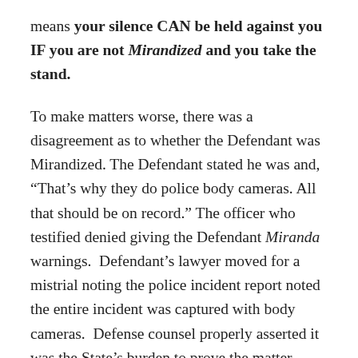means your silence CAN be held against you IF you are not Mirandized and you take the stand.
To make matters worse, there was a disagreement as to whether the Defendant was Mirandized. The Defendant stated he was and, “That’s why they do police body cameras. All that should be on record.” The officer who testified denied giving the Defendant Miranda warnings. Defendant’s lawyer moved for a mistrial noting the police incident report noted the entire incident was captured with body cameras. Defense counsel properly asserted it was the State’s burden to prove the matter beyond a reasonable doubt. The trial court disagreed opining that it was merely a question of whether a Doyle violation occurred- meaning whether